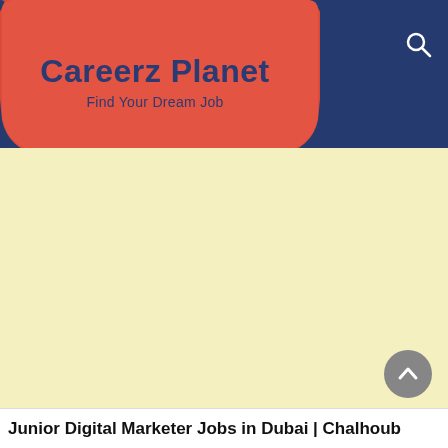Careerz Planet – Find Your Dream Job
Junior Digital Marketer Jobs in Dubai | Chalhoub